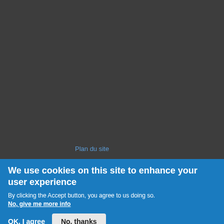[Figure (screenshot): Dark grey background area representing a website page background]
Plan du site
We use cookies on this site to enhance your user experience
By clicking the Accept button, you agree to us doing so.
No, give me more info
OK, I agree
No, thanks